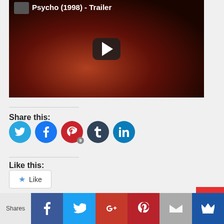[Figure (screenshot): YouTube video thumbnail for Psycho (1998) - Trailer showing a dark close-up of a person's face with a play button overlay]
Share this:
[Figure (infographic): Row of social media share buttons: Twitter (blue), Facebook (blue), Pinterest (red with badge '9'), Tumblr (dark), LinkedIn (blue)]
Like this:
[Figure (screenshot): WordPress Like button widget with star icon and text 'Like']
Be the first to like this.
Shares | Facebook | Twitter | G+ | Pinterest | Mail | Crown